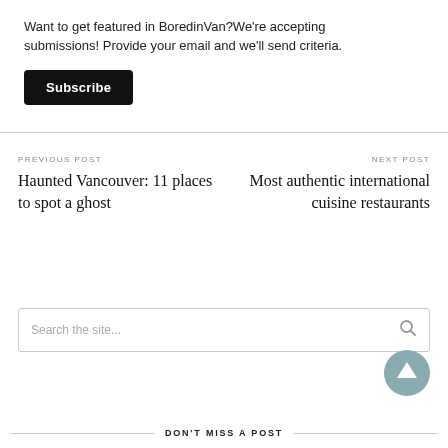Want to get featured in BoredinVan?We're accepting submissions! Provide your email and we'll send criteria.
Subscribe
PREVIOUS POST
Haunted Vancouver: 11 places to spot a ghost
NEXT POST
Most authentic international cuisine restaurants
Search the site...
DON'T MISS A POST